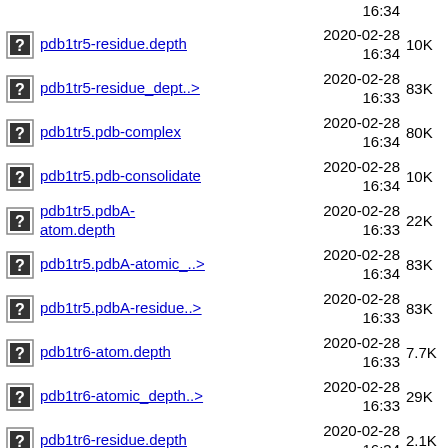pdb1tr5-residue.depth 2020-02-28 16:34 10K
pdb1tr5-residue_dept..> 2020-02-28 16:33 83K
pdb1tr5.pdb-complex 2020-02-28 16:34 80K
pdb1tr5.pdb-consolidate 2020-02-28 16:34 10K
pdb1tr5.pdbA-atom.depth 2020-02-28 16:33 22K
pdb1tr5.pdbA-atomic_..> 2020-02-28 16:34 83K
pdb1tr5.pdbA-residue..> 2020-02-28 16:33 83K
pdb1tr6-atom.depth 2020-02-28 16:33 7.7K
pdb1tr6-atomic_depth..> 2020-02-28 16:33 29K
pdb1tr6-residue.depth 2020-02-28 16:34 2.1K
pdb1tr6-residue_dept..> 2020-02-28 16:34 29K